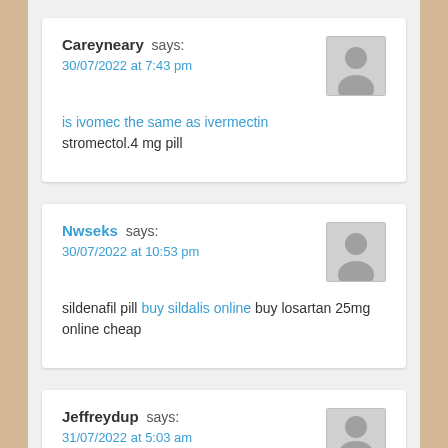Careyneary says: 30/07/2022 at 7:43 pm
is ivomec the same as ivermectin
stromectol.4 mg pill
Nwseks says: 30/07/2022 at 10:53 pm
sildenafil pill buy sildalis online buy losartan 25mg online cheap
Jeffreydup says: 31/07/2022 at 5:03 am